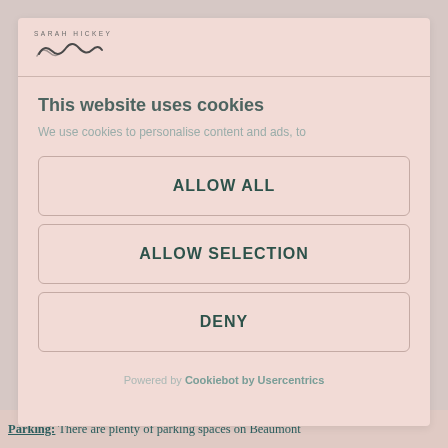SARAH HICKEY
This website uses cookies
We use cookies to personalise content and ads, to
ALLOW ALL
ALLOW SELECTION
DENY
Powered by Cookiebot by Usercentrics
Parking: There are plenty of parking spaces on Beaumont